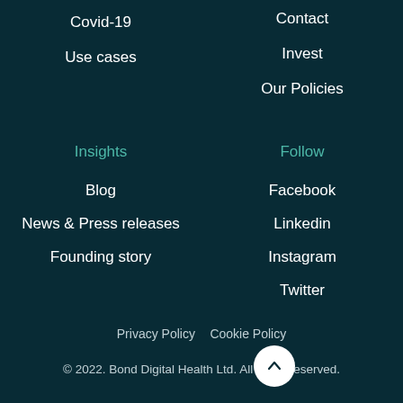Covid-19
Contact
Use cases
Invest
Our Policies
Insights
Follow
Blog
Facebook
News & Press releases
Linkedin
Founding story
Instagram
Twitter
Privacy Policy   Cookie Policy
© 2022. Bond Digital Health Ltd. All rights reserved.